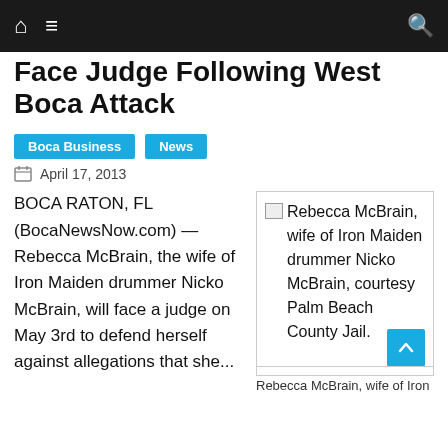Navigation bar with home, menu, and search icons
Face Judge Following West Boca Attack
Boca Business | News
April 17, 2013
BOCA RATON, FL (BocaNewsNow.com) — Rebecca McBrain, the wife of Iron Maiden drummer Nicko McBrain, will face a judge on May 3rd to defend herself against allegations that she...
[Figure (photo): Rebecca McBrain, wife of Iron Maiden drummer Nicko McBrain, courtesy Palm Beach County Jail.]
Rebecca McBrain, wife of Iron